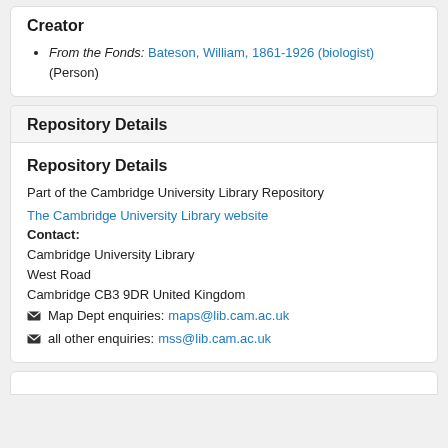Creator
From the Fonds: Bateson, William, 1861-1926 (biologist) (Person)
Repository Details
Repository Details
Part of the Cambridge University Library Repository
The Cambridge University Library website
Contact: Cambridge University Library West Road Cambridge CB3 9DR United Kingdom
✉ Map Dept enquiries: maps@lib.cam.ac.uk
✉ all other enquiries: mss@lib.cam.ac.uk